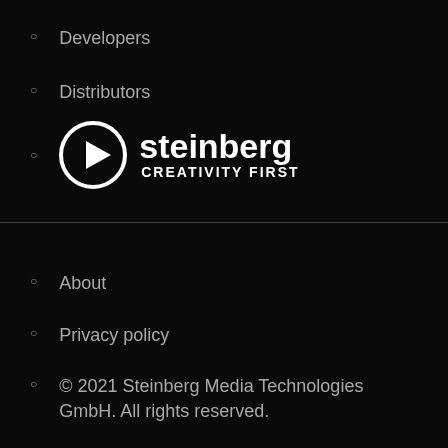Developers
Distributors
[Figure (logo): Steinberg logo: circle with play triangle icon, text 'steinberg' and 'Creativity First']
About
Privacy policy
© 2021 Steinberg Media Technologies GmbH. All rights reserved.